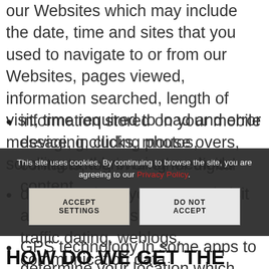our Websites which may include the date, time and sites that you used to navigate to or from our Websites, pages viewed, information searched, length of visit, time required to load and error messaging, clicks, mouse overs, scrolling and browsing methods
information stored on your mobile device, including photos, contacts, log in or other digital content
details on how you use and visit any of our Websites, including traffic dating, weblogs, communication data
GPS technology in some apps to determine your location which may be disabled by changing your device settings on your device
This site uses cookies. By continuing to browse the site, you are agreeing to our Privacy Policy.
HOW DO WE GET THE